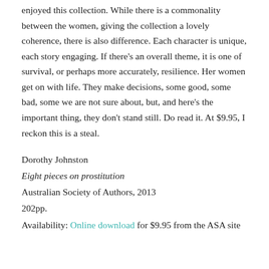enjoyed this collection. While there is a commonality between the women, giving the collection a lovely coherence, there is also difference. Each character is unique, each story engaging. If there's an overall theme, it is one of survival, or perhaps more accurately, resilience. Her women get on with life. They make decisions, some good, some bad, some we are not sure about, but, and here's the important thing, they don't stand still. Do read it. At $9.95, I reckon this is a steal.
Dorothy Johnston
Eight pieces on prostitution
Australian Society of Authors, 2013
202pp.
Availability: Online download for $9.95 from the ASA site